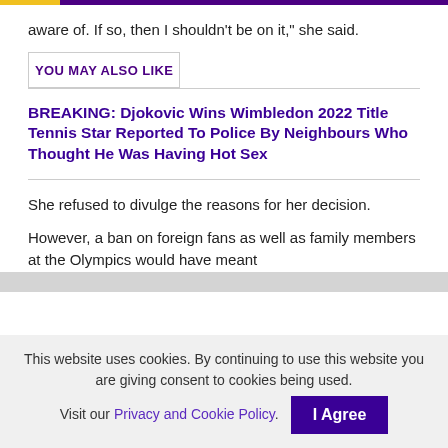aware of. If so, then I shouldn't be on it," she said.
YOU MAY ALSO LIKE
BREAKING: Djokovic Wins Wimbledon 2022 Title
Tennis Star Reported To Police By Neighbours Who Thought He Was Having Hot Sex
She refused to divulge the reasons for her decision.
However, a ban on foreign fans as well as family members at the Olympics would have meant
This website uses cookies. By continuing to use this website you are giving consent to cookies being used. Visit our Privacy and Cookie Policy.